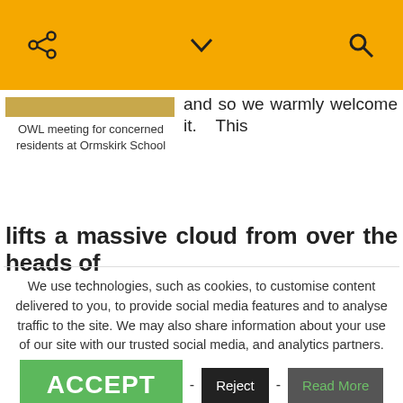Share | Chevron down | Search
[Figure (screenshot): Cropped image of OWL meeting event at Ormskirk School]
OWL meeting for concerned residents at Ormskirk School
and so we warmly welcome it. This lifts a massive cloud from over the heads of
We use technologies, such as cookies, to customise content delivered to you, to provide social media features and to analyse traffic to the site. We may also share information about your use of our site with our trusted social media, and analytics partners.
ACCEPT - Reject - Read More